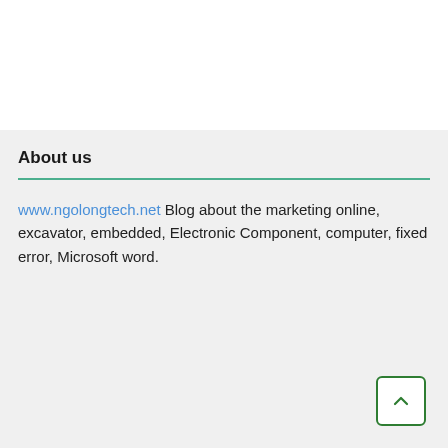About us
www.ngolongtech.net Blog about the marketing online, excavator, embedded, Electronic Component, computer, fixed error, Microsoft word.